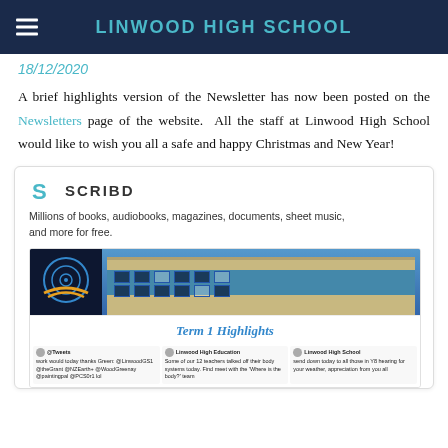LINWOOD HIGH SCHOOL
18/12/2020
A brief highlights version of the Newsletter has now been posted on the Newsletters page of the website.  All the staff at Linwood High School would like to wish you all a safe and happy Christmas and New Year!
[Figure (screenshot): Scribd embedded card showing logo, description 'Millions of books, audiobooks, magazines, documents, sheet music, and more for free.', and a preview of the Linwood High School Term 1 Highlights document with school emblem, building photo, 'Term 1 Highlights' heading, and three tweet screenshots below.]